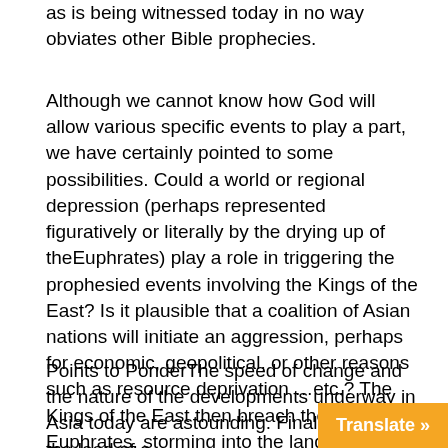as is being witnessed today in no way obviates other Bible prophecies.
Although we cannot know how God will allow various specific events to play a part, we have certainly pointed to some possibilities. Could a world or regional depression (perhaps represented figuratively or literally by the drying up of theEuphrates) play a role in triggering the prophesied events involving the Kings of the East? Is it plausible that a coalition of Asian nations will initiate an aggression, perhaps for economic, geopolitical, or other reasons such as resource deprivation ...etc.? The Kings of the East then breach the Euphrates, storming into the lands originally covenanted to Israel. We can only speculate. But one thing is true: Events are accelerating on the world stage, and for the first time in history, events described in Revelation could indeed see literal fulfillment.
Points to PonderThe speed of change and the nature of the developments underway in Asia today are astounding. Finally, following the lead of o...